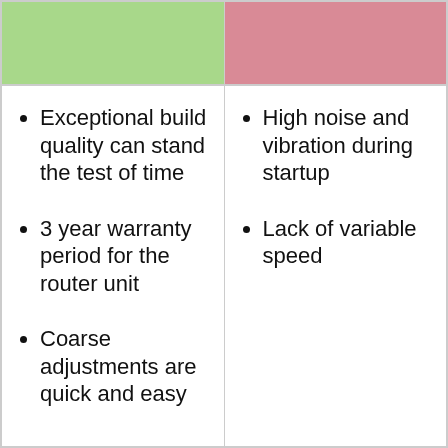Exceptional build quality can stand the test of time
3 year warranty period for the router unit
Coarse adjustments are quick and easy
High noise and vibration during startup
Lack of variable speed